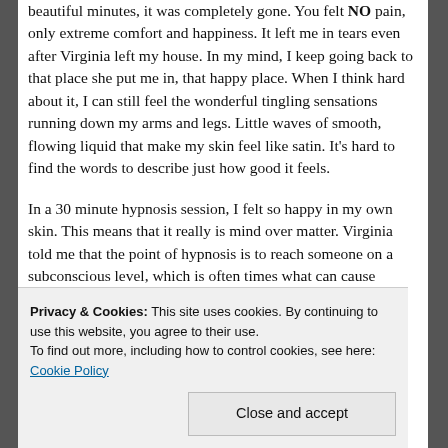beautiful minutes, it was completely gone. You felt NO pain, only extreme comfort and happiness. It left me in tears even after Virginia left my house. In my mind, I keep going back to that place she put me in, that happy place. When I think hard about it, I can still feel the wonderful tingling sensations running down my arms and legs. Little waves of smooth, flowing liquid that make my skin feel like satin. It's hard to find the words to describe just how good it feels.
In a 30 minute hypnosis session, I felt so happy in my own skin. This means that it really is mind over matter. Virginia told me that the point of hypnosis is to reach someone on a subconscious level, which is often times what can cause eczema flare...
Privacy & Cookies: This site uses cookies. By continuing to use this website, you agree to their use. To find out more, including how to control cookies, see here: Cookie Policy
Close and accept